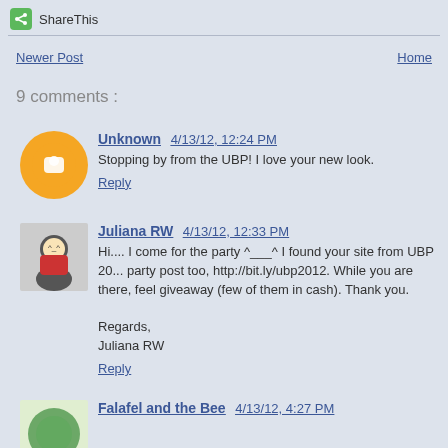[Figure (logo): ShareThis green share icon logo with text 'ShareThis']
9 comments :
Unknown 4/13/12, 12:24 PM
Stopping by from the UBP! I love your new look.
Reply
Juliana RW 4/13/12, 12:33 PM
Hi.... I come for the party ^___^ I found your site from UBP 2012. party post too, http://bit.ly/ubp2012. While you are there, feel giveaway (few of them in cash). Thank you.
Regards,
Juliana RW
Reply
Falafel and the Bee 4/13/12, 4:27 PM